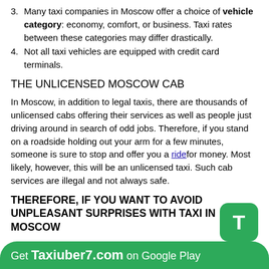3. Many taxi companies in Moscow offer a choice of vehicle category: economy, comfort, or business. Taxi rates between these categories may differ drastically.
4. Not all taxi vehicles are equipped with credit card terminals.
THE UNLICENSED MOSCOW CAB
In Moscow, in addition to legal taxis, there are thousands of unlicensed cabs offering their services as well as people just driving around in search of odd jobs. Therefore, if you stand on a roadside holding out your arm for a few minutes, someone is sure to stop and offer you a ride for money. Most likely, however, this will be an unlicensed taxi. Such cab services are illegal and not always safe.
THEREFORE, IF YOU WANT TO AVOID UNPLEASANT SURPRISES WITH TAXI IN MOSCOW
1. Choose taxis with yellow vehicle registration plates. An exception can be made for transportation companies at airports, where you book a taxi at an official desk.
2. Find out the rates and the approximate cost of your ride in advance.
3. If you are travelling with children under the age of 12, you must use a child seat. Most taxis are not equipped with
Get Taxiuber7.com on Google Play